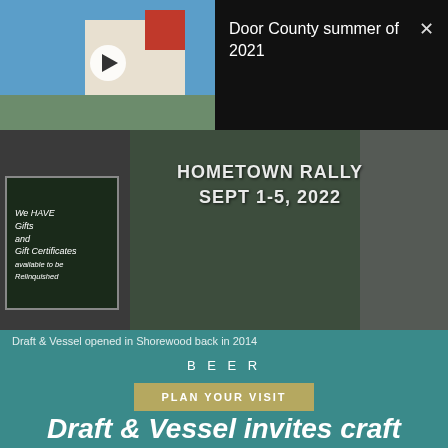[Figure (photo): Photo of a building with blue sky and street level greenery, with a play button overlay indicating a video thumbnail]
Door County summer of 2021
[Figure (photo): Storefront of Draft & Vessel with 'HOMETOWN RALLY SEPT 1-5, 2022' text overlaid on the window, showing a bar/restaurant with an OPEN sign and gift shop signage]
Draft & Vessel opened in Shorewood back in 2014
BEER
PLAN YOUR VISIT
Draft & Vessel invites craft